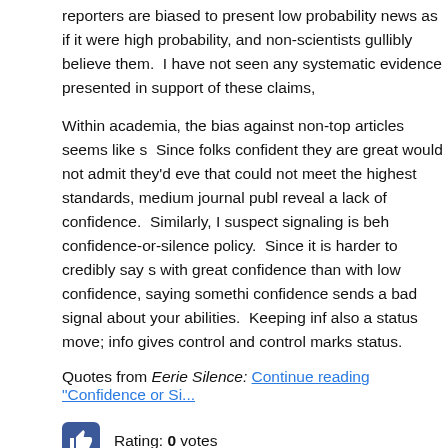reporters are biased to present low probability news as if it were high probability, and non-scientists gullibly believe them.  I have not seen any systematic evidence presented in support of these claims,
Within academia, the bias against non-top articles seems like signaling.  Since folks confident they are great would not admit they'd ever do work that could not meet the highest standards, medium journal publication would reveal a lack of confidence.  Similarly, I suspect signaling is behind a confidence-or-silence policy.  Since it is harder to credibly say something with great confidence than with low confidence, saying something with low confidence sends a bad signal about your abilities.  Keeping info to oneself is also a status move; info gives control and control marks status.
Quotes from Eerie Silence: Continue reading "Confidence or Si..."
Rating: 0 votes
Tagged as: Media, Overconfidence, Science
Being Right Too Soon